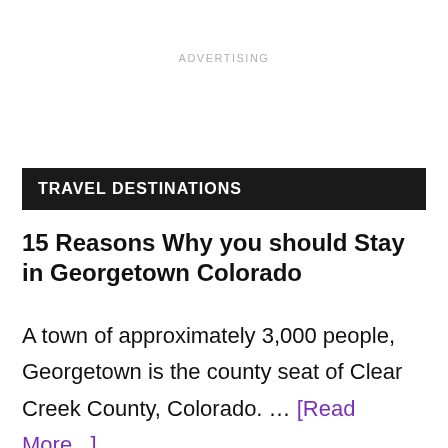ADVERTISING
TRAVEL DESTINATIONS
15 Reasons Why you should Stay in Georgetown Colorado
A town of approximately 3,000 people, Georgetown is the county seat of Clear Creek County, Colorado. … [Read More...]